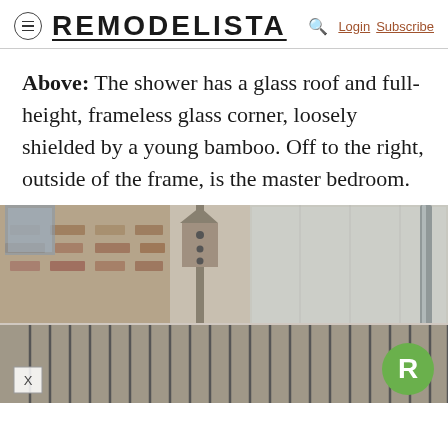REMODELISTA — Login Subscribe
Above: The shower has a glass roof and full-height, frameless glass corner, loosely shielded by a young bamboo. Off to the right, outside of the frame, is the master bedroom.
[Figure (photo): Exterior architectural photograph showing a building facade with brick walls, a birdhouse on a post, metal fence/railing with vertical bars in dark metal, and frosted glass panels in the background. Bottom-left shows an 'X' close button overlay.]